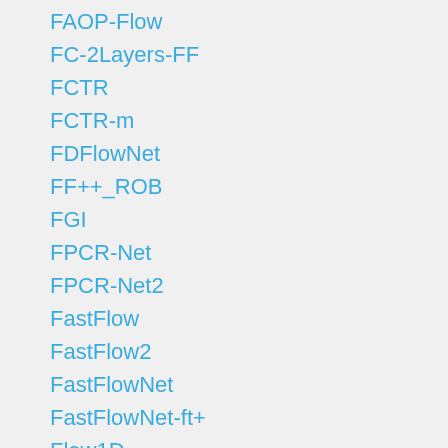FAOP-Flow
FC-2Layers-FF
FCTR
FCTR-m
FDFlowNet
FF++_ROB
FGI
FPCR-Net
FPCR-Net2
FastFlow
FastFlow2
FastFlowNet
FastFlowNet-ft+
Flow1D
FlowFields
FlowFields+
FlowFields++
FlowFieldsCNN
FlowFormer